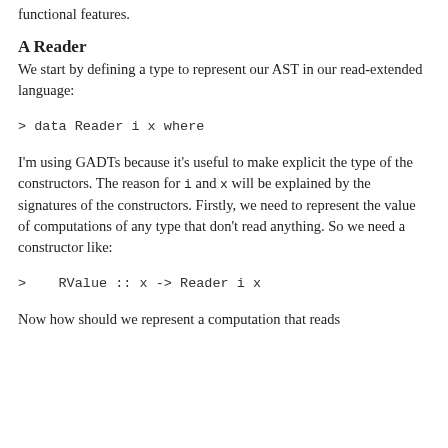functional features.
A Reader
We start by defining a type to represent our AST in our read-extended language:
I'm using GADTs because it's useful to make explicit the type of the constructors. The reason for i and x will be explained by the signatures of the constructors. Firstly, we need to represent the value of computations of any type that don't read anything. So we need a constructor like:
Now how should we represent a computation that reads